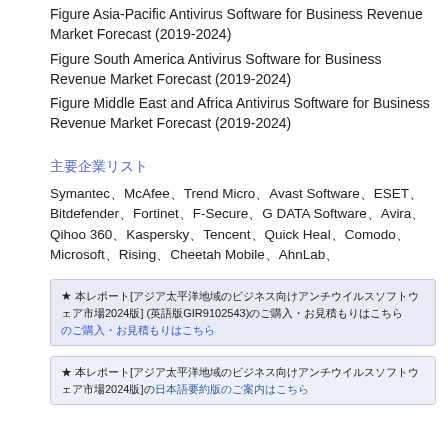Figure Asia-Pacific Antivirus Software for Business Revenue Market Forecast (2019-2024)
Figure South America Antivirus Software for Business Revenue Market Forecast (2019-2024)
Figure Middle East and Africa Antivirus Software for Business Revenue Market Forecast (2019-2024)
主要企業リスト
Symantec、McAfee、Trend Micro、Avast Software、ESET、Bitdefender、Fortinet、F-Secure、G DATA Software、Avira、Qihoo 360、Kaspersky、Tencent、Quick Heal、Comodo、Microsoft、Rising、Cheetah Mobile、AhnLab、
★ 本レポート[アジア太平洋地域のビジネス向けアンチウイルスソフトウェア市場2024版] (英語版GIR9102543)のご購入・お見積もりはこちら
★ 本レポート[アジア太平洋地域のビジネス向けアンチウイルスソフトウェア市場2024版]の日本語要約版のご案内はこちら